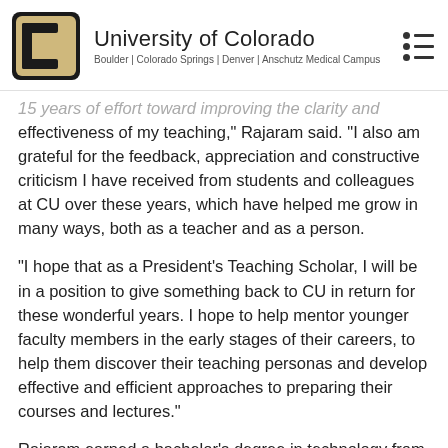University of Colorado — Boulder | Colorado Springs | Denver | Anschutz Medical Campus
15 years of effort toward improving the clarity and effectiveness of my teaching," Rajaram said. "I also am grateful for the feedback, appreciation and constructive criticism I have received from students and colleagues at CU over these years, which have helped me grow in many ways, both as a teacher and as a person.
"I hope that as a President's Teaching Scholar, I will be in a position to give something back to CU in return for these wonderful years. I hope to help mentor younger faculty members in the early stages of their careers, to help them discover their teaching personas and develop effective and efficient approaches to preparing their courses and lectures."
Rajaram earned a bachelor's degree in technology from the